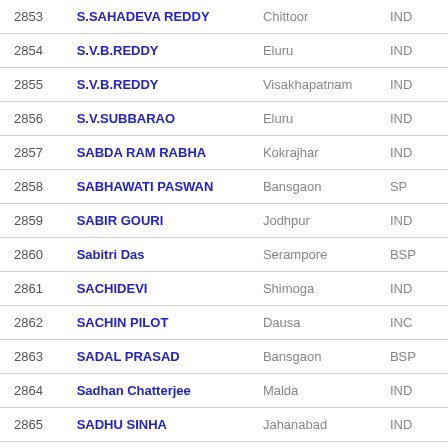| No. | Name | Constituency | Party |
| --- | --- | --- | --- |
| 2853 | S.SAHADEVA REDDY | Chittoor | IND |
| 2854 | S.V.B.REDDY | Eluru | IND |
| 2855 | S.V.B.REDDY | Visakhapatnam | IND |
| 2856 | S.V.SUBBARAO | Eluru | IND |
| 2857 | SABDA RAM RABHA | Kokrajhar | IND |
| 2858 | SABHAWATI PASWAN | Bansgaon | SP |
| 2859 | SABIR GOURI | Jodhpur | IND |
| 2860 | Sabitri Das | Serampore | BSP |
| 2861 | SACHIDEVI | Shimoga | IND |
| 2862 | SACHIN PILOT | Dausa | INC |
| 2863 | SADAL PRASAD | Bansgaon | BSP |
| 2864 | Sadhan Chatterjee | Malda | IND |
| 2865 | SADHU SINHA | Jahanabad | IND |
| 2866 | SAFDAR RAZA KHAN | Machhlishahr | AD |